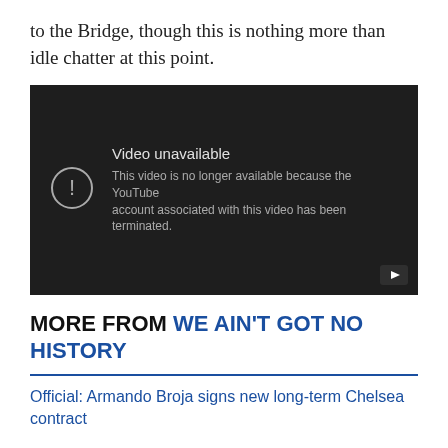to the Bridge, though this is nothing more than idle chatter at this point.
[Figure (screenshot): Embedded YouTube video player showing 'Video unavailable' message. Text reads: 'Video unavailable. This video is no longer available because the YouTube account associated with this video has been terminated.' A YouTube play button icon is visible in the bottom right corner.]
MORE FROM WE AIN'T GOT NO HISTORY
Official: Armando Broja signs new long-term Chelsea contract